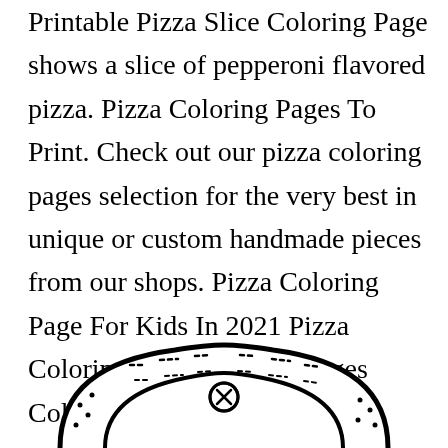Printable Pizza Slice Coloring Page shows a slice of pepperoni flavored pizza. Pizza Coloring Pages To Print. Check out our pizza coloring pages selection for the very best in unique or custom handmade pieces from our shops. Pizza Coloring Page For Kids In 2021 Pizza Coloring Page Coloring Pages Coloring Pages For Kids.
[Figure (illustration): Bottom portion of a pizza slice coloring page illustration showing the crust/top edge of a pizza slice with dotted texture marks and a circular pepperoni marker in the center, drawn in black outline style.]